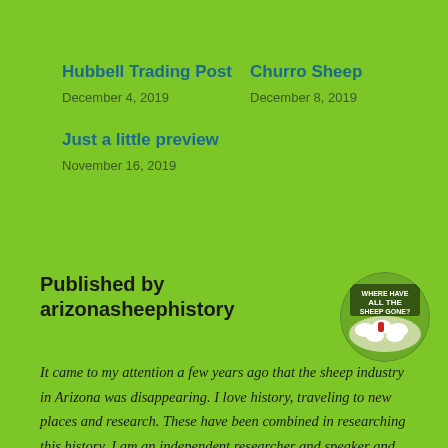Hubbell Trading Post
December 4, 2019
Churro Sheep
December 8, 2019
Just a little preview
November 16, 2019
Published by arizonasheephistory
[Figure (photo): Circular avatar/logo image showing sheep with text 'WHERE HAVE ALL THE SHEEP GONE?' on a book cover or logo]
It came to my attention a few years ago that the sheep industry in Arizona was disappearing. I love history, traveling to new places and research. These have been combined in researching this history. I am an independent researcher and speaker and also part of AZ Speaks with the